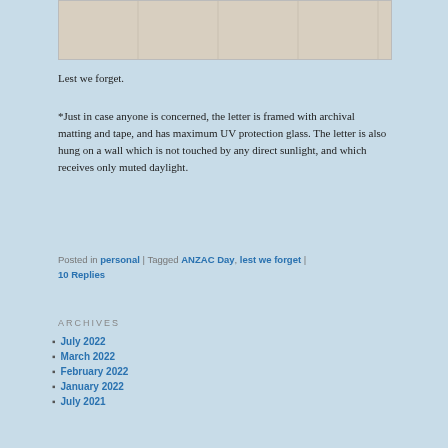[Figure (photo): Partial view of a framed item with a light wood/matting background, showing vertical panel lines.]
Lest we forget.
*Just in case anyone is concerned, the letter is framed with archival matting and tape, and has maximum UV protection glass. The letter is also hung on a wall which is not touched by any direct sunlight, and which receives only muted daylight.
Posted in personal | Tagged ANZAC Day, lest we forget | 10 Replies
ARCHIVES
July 2022
March 2022
February 2022
January 2022
July 2021